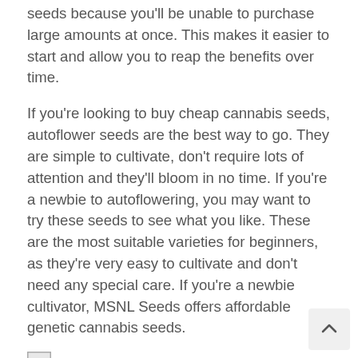seeds because you'll be unable to purchase large amounts at once. This makes it easier to start and allow you to reap the benefits over time.
If you're looking to buy cheap cannabis seeds, autoflower seeds are the best way to go. They are simple to cultivate, don't require lots of attention and they'll bloom in no time. If you're a newbie to autoflowering, you may want to try these seeds to see what you like. These are the most suitable varieties for beginners, as they're very easy to cultivate and don't need any special care. If you're a newbie cultivator, MSNL Seeds offers affordable genetic cannabis seeds.
Sonoma Seeds, a new site, is a specialist in the highest quality genetic seed. You can choose among more than 500 varieties and receive an 8 chance of germination. Many of these sites offer shipping, as well as discreet tracking. If you're just